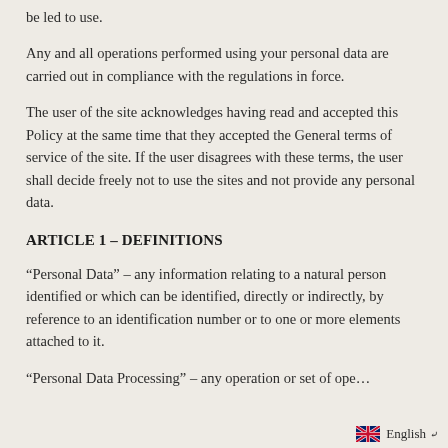be led to use.
Any and all operations performed using your personal data are carried out in compliance with the regulations in force.
The user of the site acknowledges having read and accepted this Policy at the same time that they accepted the General terms of service of the site. If the user disagrees with these terms, the user shall decide freely not to use the sites and not provide any personal data.
ARTICLE 1 – DEFINITIONS
“Personal Data” – any information relating to a natural person identified or which can be identified, directly or indirectly, by reference to an identification number or to one or more elements attached to it.
“Personal Data Processing” – any operation or set of ope…
English